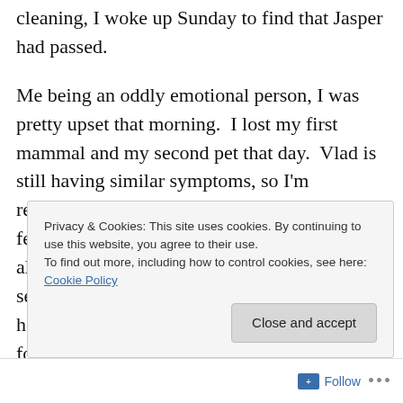cleaning, I woke up Sunday to find that Jasper had passed.
Me being an oddly emotional person, I was pretty upset that morning.  I lost my first mammal and my second pet that day.  Vlad is still having similar symptoms, so I'm redoubling my efforts to make sure he's well-fed and has a clean home.  As of right now, it's all I can do. I might move the cage around and see if that helps at all.  I'll give an update on how that goes; I just wanted to post an update for Jasper.
Privacy & Cookies: This site uses cookies. By continuing to use this website, you agree to their use.
To find out more, including how to control cookies, see here: Cookie Policy
Close and accept
Follow ...